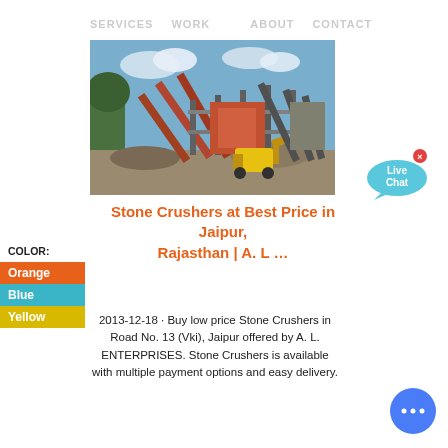SERVICES   WORK         ABOUT   CONTACT
[Figure (photo): Industrial stone crusher facility with conveyor belts, machinery, a yellow front loader, and gravel piles under a blue sky with clouds.]
[Figure (other): Live Chat speech bubble icon in light blue]
Stone Crushers at Best Price in Jaipur, Rajasthan | A. L …
COLOR:
Orange
Blue
Yellow
2013-12-18 · Buy low price Stone Crushers in Road No. 13 (Vki), Jaipur offered by A. L. ENTERPRISES. Stone Crushers is available with multiple payment options and easy delivery.
[Figure (other): Blue circular chat button with three dots]